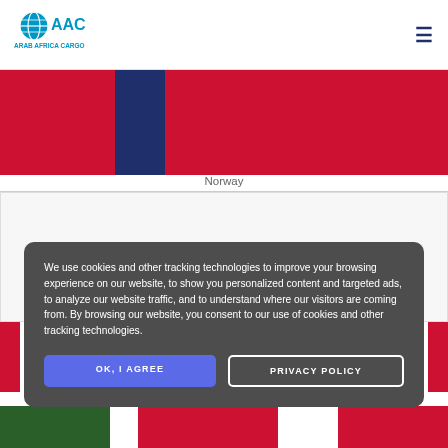[Figure (logo): Arab Africa Cargo (AAC) logo with globe icon and blue text]
[Figure (illustration): Norway flag displayed across the top banner area with red, dark navy blue vertical stripe, and red sections]
Norway
We use cookies and other tracking technologies to improve your browsing experience on our website, to show you personalized content and targeted ads, to analyze our website traffic, and to understand where our visitors are coming from. By browsing our website, you consent to our use of cookies and other tracking technologies.
OK, I AGREE
PRIVACY POLICY